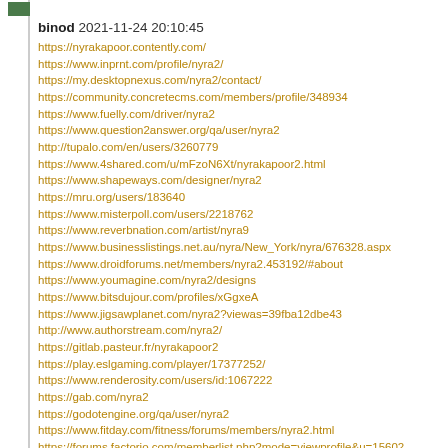binod 2021-11-24 20:10:45
https://nyrakapoor.contently.com/
https://www.inprnt.com/profile/nyra2/
https://my.desktopnexus.com/nyra2/contact/
https://community.concretecms.com/members/profile/348934
https://www.fuelly.com/driver/nyra2
https://www.question2answer.org/qa/user/nyra2
http://tupalo.com/en/users/3260779
https://www.4shared.com/u/mFzoN6Xt/nyrakapoor2.html
https://www.shapeways.com/designer/nyra2
https://mru.org/users/183640
https://www.misterpoll.com/users/2218762
https://www.reverbnation.com/artist/nyra9
https://www.businesslistings.net.au/nyra/New_York/nyra/676328.aspx
https://www.droidforums.net/members/nyra2.453192/#about
https://www.youmagine.com/nyra2/designs
https://www.bitsdujour.com/profiles/xGgxeA
https://www.jigsawplanet.com/nyra2?viewas=39fba12dbe43
http://www.authorstream.com/nyra2/
https://gitlab.pasteur.fr/nyrakapoor2
https://play.eslgaming.com/player/17377252/
https://www.renderosity.com/users/id:1067222
https://gab.com/nyra2
https://godotengine.org/qa/user/nyra2
https://www.fitday.com/fitness/forums/members/nyra2.html
https://forums.factorio.com/memberlist.php?mode=viewprofile&u=15602
http://www.webestools.com/profile-426970.html